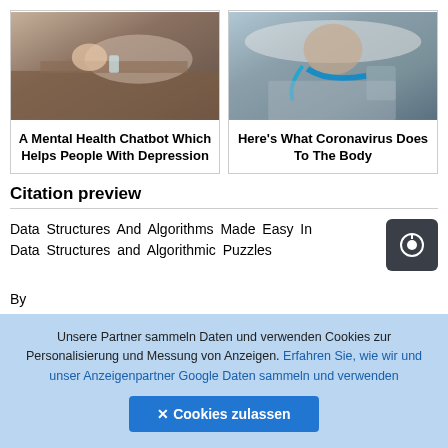[Figure (photo): Woman lying on a wooden table looking relaxed, with a glass of water nearby]
A Mental Health Chatbot Which Helps People With Depression
[Figure (photo): Woman in hospital bed with breathing tubes and medical equipment (coronavirus patient)]
Here's What Coronavirus Does To The Body
Citation preview
Data Structures And Algorithms Made Easy In Data Structures and Algorithmic Puzzles
By
Unsere Partner sammeln Daten und verwenden Cookies zur Personalisierung und Messung von Anzeigen. Erfahren Sie, wie wir und unser Anzeigenpartner Google Daten sammeln und verwenden
✕ Cookies zulassen